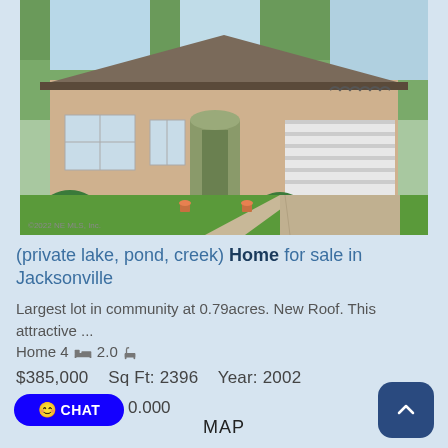[Figure (photo): Front exterior photo of a single-story brick ranch house with green lawn, two-car garage, and tree background. Watermark: ©2022 NE MLS, Inc.]
(private lake, pond, creek) Home for sale in Jacksonville
Largest lot in community at 0.79acres. New Roof. This attractive ...
Home 4 [bed icon] 2.0 [bath icon]
$385,000   Sq Ft: 2396   Year: 2002
CHAT   0.000
MAP